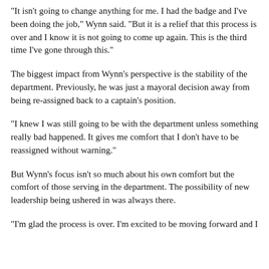"It isn't going to change anything for me. I had the badge and I've been doing the job," Wynn said. "But it is a relief that this process is over and I know it is not going to come up again. This is the third time I've gone through this."
The biggest impact from Wynn's perspective is the stability of the department. Previously, he was just a mayoral decision away from being re-assigned back to a captain's position.
"I knew I was still going to be with the department unless something really bad happened. It gives me comfort that I don't have to be reassigned without warning."
But Wynn's focus isn't so much about his own comfort but the comfort of those serving in the department. The possibility of new leadership being ushered in was always there.
"I'm glad the process is over. I'm excited to be moving forward and I